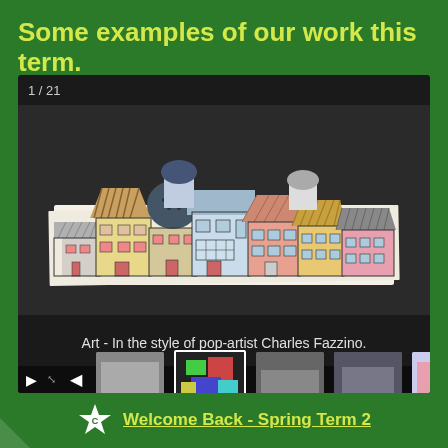Some examples of our work this term.
[Figure (screenshot): A school slideshow screenshot showing a student artwork in the style of pop-artist Charles Fazzino — a row of colourful hand-drawn buildings on white paper displayed on a dark background. The slideshow shows counter '1 / 21', playback controls, and a thumbnail filmstrip at the bottom.]
Art - In the style of pop-artist Charles Fazzino.
Welcome Back - Spring Term 2